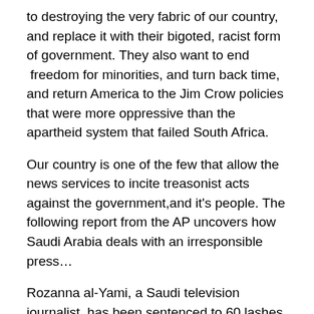to destroying the very fabric of our country, and replace it with their bigoted, racist form of government. They also want to end  freedom for minorities, and turn back time, and return America to the Jim Crow policies that were more oppressive than the apartheid system that failed South Africa.
Our country is one of the few that allow the news services to incite treasonist acts against the government,and it's people. The following report from the AP uncovers how Saudi Arabia deals with an irresponsible press…
Rozanna al-Yami, a Saudi television journalist, has been sentenced to 60 lashes with a whip, for her role in producing, editing, and airing a news report about the sexual exploits of a Saudi man, Mazen Abdul-Jawad, sexual exploits.